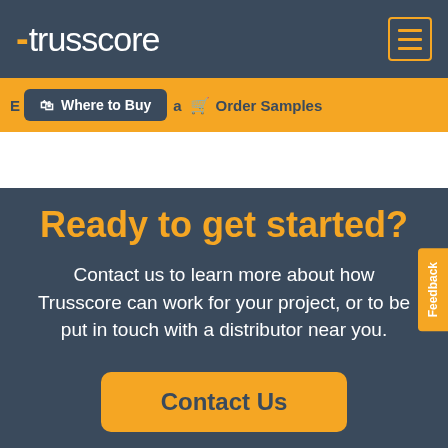trusscore
Where to Buy | Order Samples
Ready to get started?
Contact us to learn more about how Trusscore can work for your project, or to be put in touch with a distributor near you.
Contact Us
Feedback